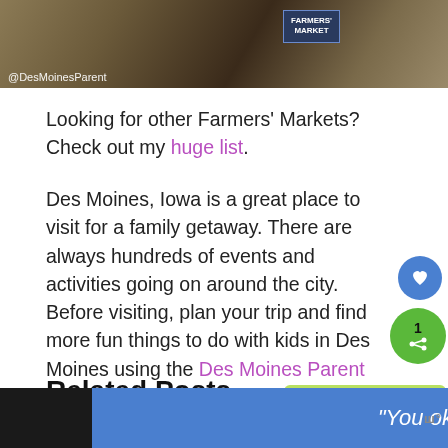[Figure (photo): Farmers Market scene with watermark @DesMoinesParent]
Looking for other Farmers' Markets? Check out my huge list.
Des Moines, Iowa is a great place to visit for a family getaway. There are always hundreds of events and activities going on around the city. Before visiting, plan your trip and find more fun things to do with kids in Des Moines using the Des Moines Parent event calendar which is loaded with lots of fun.
Related Posts
[Figure (screenshot): Bottom ad banner: 'You okay?' in blue, and What's Next widget showing The Life Expo: Helping...]